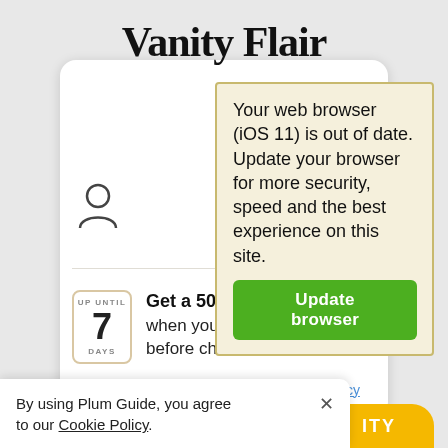Vanity Flair
Your web browser (iOS 11) is out of date.
Update your browser for more security, speed and the best experience on this site.
Update browser
[Figure (illustration): Calendar icon showing UP UNTIL / 7 / DAYS]
Get a 50% refund when you cancel up until 7 days before check-in
Also covered by our Covid-19 refund policy
By using Plum Guide, you agree to our Cookie Policy.
ITY